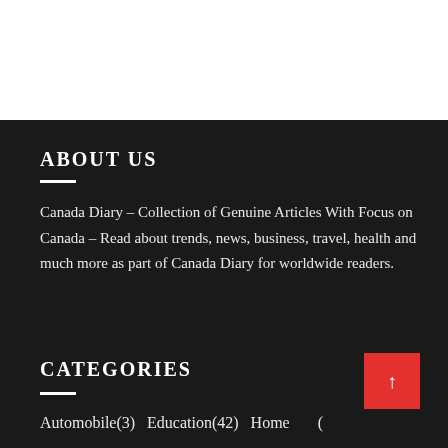ABOUT US
Canada Diary – Collection of Genuine Articles With Focus on Canada – Read about trends, news, business, travel, health and much more as part of Canada Diary for worldwide readers.
CATEGORIES
Automobile(3)  Education(42)  Home  (